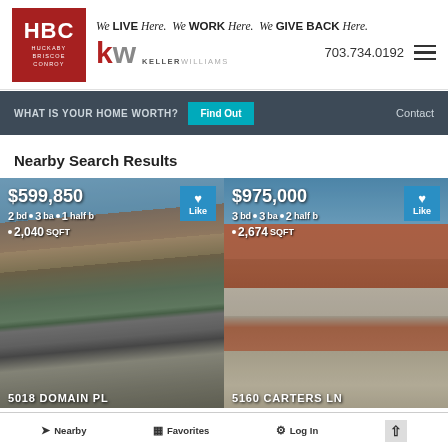[Figure (logo): HBC Huckaby Briscoe Conroy logo and Keller Williams logo with tagline 'We LIVE Here. We WORK Here. We GIVE BACK Here.' and phone number 703.734.0192]
WHAT IS YOUR HOME WORTH?  Find Out  Contact
Nearby Search Results
[Figure (photo): Property listing photo for 5018 DOMAIN PL showing a townhome. Price $599,850. 2 bd • 3 ba • 1 half bath • 2,040 SQFT. Like button.]
[Figure (photo): Property listing photo for 5160 CARTERS LN showing modern townhomes. Price $975,000. 3 bd • 3 ba • 2 half bath • 2,674 SQFT. Like button.]
Nearby  Favorites  Log In